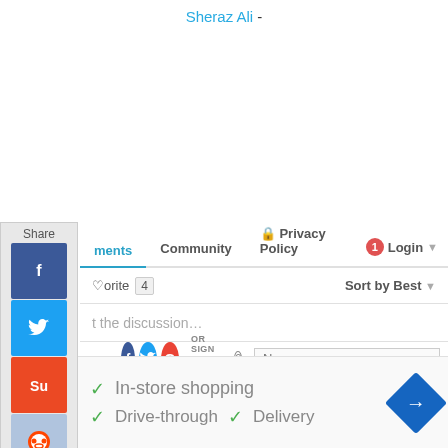Sheraz Ali -
[Figure (screenshot): Share sidebar with Facebook, Twitter, StumbleUpon, Reddit, Email buttons and a chevron expand]
[Figure (screenshot): Disqus comment section UI: nav bar with Comments, Community, Privacy Policy, Login; Favorite button with count 4; Sort by Best; Start the discussion input; Sign in with social icons (Facebook, Twitter, Google) or sign up with Disqus; Name input field]
[Figure (screenshot): CVS Pharmacy advertisement: In-store shopping, Drive-through, Delivery checkmarks with CVS logo and navigation arrow icon]